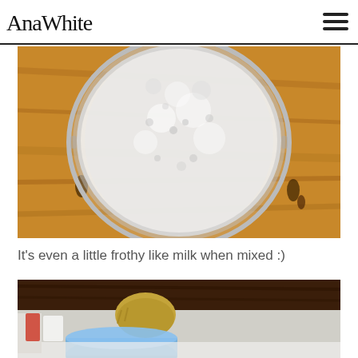AnaWhite
[Figure (photo): Top-down view of a glass with frothy white liquid on a rustic wooden surface]
It's even a little frothy like milk when mixed :)
[Figure (photo): Child leaning over a dark wooden table with a blue container visible, partially cropped]